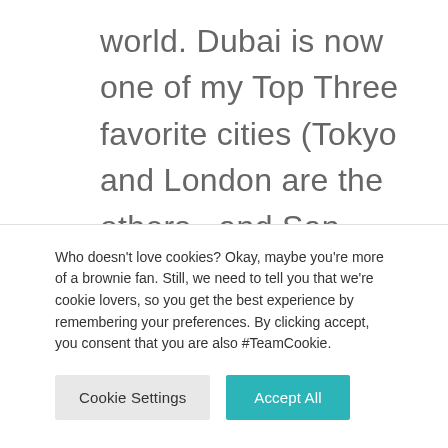world. Dubai is now one of my Top Three favorite cities (Tokyo and London are the others...and San Francisco, okay that's four!). I can't wait to go back and explore more. I found the people generous and kind, the vertical city architecturally
Who doesn't love cookies? Okay, maybe you're more of a brownie fan. Still, we need to tell you that we're cookie lovers, so you get the best experience by remembering your preferences. By clicking accept, you consent that you are also #TeamCookie.
Cookie Settings | Accept All